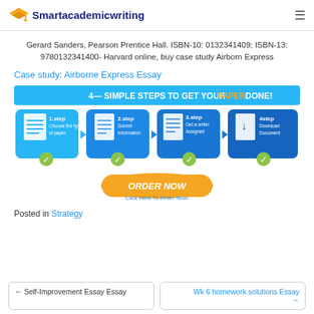Smartacademicwriting
Gerard Sanders, Pearson Prentice Hall. ISBN-10: 0132341409; ISBN-13: 9780132341400- Harvard online, buy case study Airborn Express
Case study: Airborne Express Essay
[Figure (infographic): 4 simple steps to get your paper done: 1.step Choose the type of paper, 2.step Submit Information, 3.step Get a writer Assigned, 4.step Download Document. With ORDER NOW button and Click Here To Order Now link.]
Posted in Strategy
← Self-Improvement Essay Essay    Wk 6 homework solutions Essay →